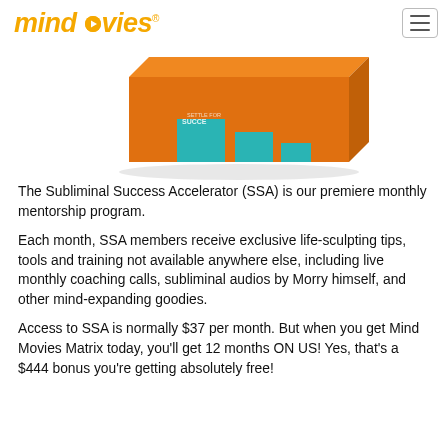mindmovies
[Figure (photo): Orange box product image for Mind Movies / Subliminal Success Accelerator with teal/cyan accent blocks on the front face]
The Subliminal Success Accelerator (SSA) is our premiere monthly mentorship program.
Each month, SSA members receive exclusive life-sculpting tips, tools and training not available anywhere else, including live monthly coaching calls, subliminal audios by Morry himself, and other mind-expanding goodies.
Access to SSA is normally $37 per month. But when you get Mind Movies Matrix today, you'll get 12 months ON US! Yes, that's a $444 bonus you're getting absolutely free!